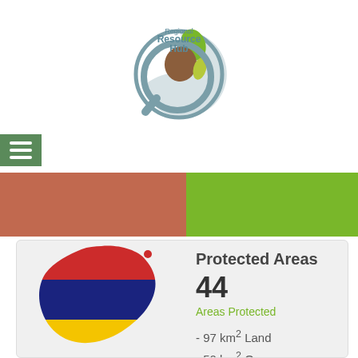[Figure (logo): Regional Resource Hub logo — a circular globe/magnifying glass icon with colorful country silhouettes and text 'Regional Resource Hub']
[Figure (infographic): Navigation hamburger menu icon (three horizontal white lines on green background)]
[Figure (infographic): Two-tone color band: terracotta/orange-brown on left (~52%), bright green on right (~48%)]
[Figure (map): Map silhouette of Mauritius showing flag colors: red (top), blue (middle), yellow (bottom)]
Protected Areas
44
Areas Protected
- 97 km² Land
- 50 km² Ocean